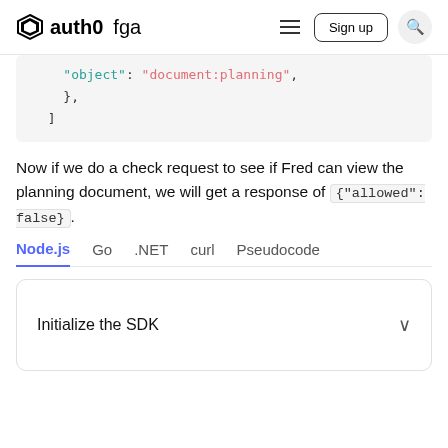auth0 fga — Sign up
"object": "document:planning",
    },
  ]
Now if we do a check request to see if Fred can view the planning document, we will get a response of {"allowed": false}.
Node.js  Go  .NET  curl  Pseudocode
Initialize the SDK